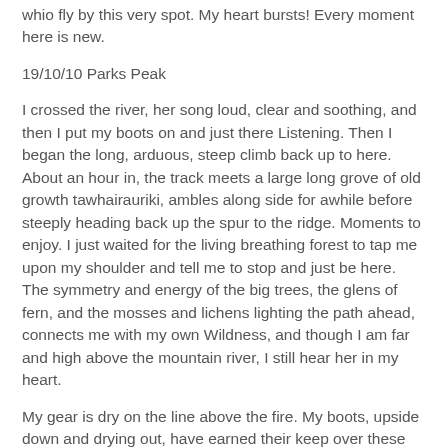whio fly by this very spot. My heart bursts! Every moment here is new.
19/10/10 Parks Peak
I crossed the river, her song loud, clear and soothing, and then I put my boots on and just there Listening. Then I began the long, arduous, steep climb back up to here. About an hour in, the track meets a large long grove of old growth tawhairauriki, ambles along side for awhile before steeply heading back up the spur to the ridge. Moments to enjoy. I just waited for the living breathing forest to tap me upon my shoulder and tell me to stop and just be here. The symmetry and energy of the big trees, the glens of fern, and the mosses and lichens lighting the path ahead, connects me with my own Wildness, and though I am far and high above the mountain river, I still hear her in my heart.
My gear is dry on the line above the fire. My boots, upside down and drying out, have earned their keep over these four days in the mountains. I am warm. I have seen no one for days since I left my car and crossed the flooded river. I have